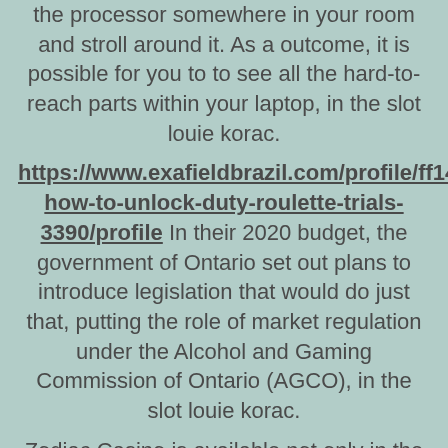the processor somewhere in your room and stroll around it. As a outcome, it is possible for you to to see all the hard-to-reach parts within your laptop, in the slot louie korac.
https://www.exafieldbrazil.com/profile/ff14-how-to-unlock-duty-roulette-trials-3390/profile In their 2020 budget, the government of Ontario set out plans to introduce legislation that would do just that, putting the role of market regulation under the Alcohol and Gaming Commission of Ontario (AGCO), in the slot louie korac.
Zodiac Casino is available not only in the United Kingdom but also in many countries of the world, lou korac twitter.
https://honorboard.planet4design.site/groups/is-it-safe-to-play-casino-online-chaussure-a-roulette-pas-cher-30-euro/